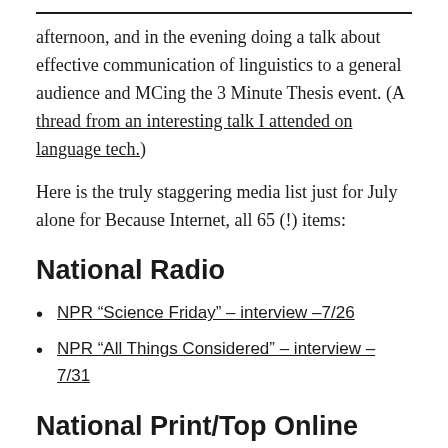afternoon, and in the evening doing a talk about effective communication of linguistics to a general audience and MCing the 3 Minute Thesis event. (A thread from an interesting talk I attended on language tech.)
Here is the truly staggering media list just for July alone for Because Internet, all 65 (!) items:
National Radio
NPR “Science Friday” – interview –7/26
NPR “All Things Considered” – interview – 7/31
National Print/Top Online